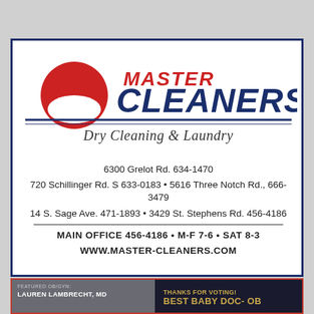[Figure (logo): Master Cleaners logo with red circle/sun graphic and bold navy blue CLEANERS text, with 'MASTER' in red above and 'Dry Cleaning & Laundry' tagline below double rule lines]
6300 Grelot Rd. 634-1470
720 Schillinger Rd. S 633-0183 • 5616 Three Notch Rd., 666-3479
14 S. Sage Ave. 471-1893 • 3429 St. Stephens Rd. 456-4186
MAIN OFFICE 456-4186 • M-F 7-6 • SAT 8-3
WWW.MASTER-CLEANERS.COM
[Figure (photo): Photo of Lauren Lambrecht, MD (Featured OB/GYN) with text 'THANKS FOR VOTING! BEST BABY DOC- OB' on dark background with gold award medallion]